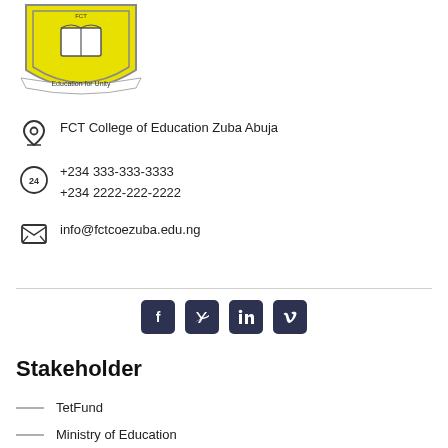[Figure (logo): FCT College of Education Zuba Abuja crest/logo with yellow shield, open book, and 'Education for Unity' banner]
FCT College of Education Zuba Abuja
+234 333-333-3333
+234 2222-222-2222
info@fctcoezuba.edu.ng
[Figure (infographic): Social media icons: Facebook, Twitter, LinkedIn, Vimeo]
Stakeholder
TetFund
Ministry of Education